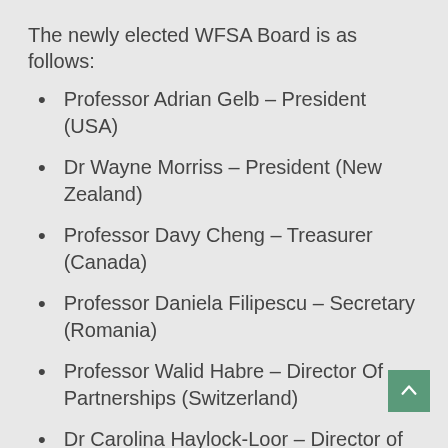The newly elected WFSA Board is as follows:
Professor Adrian Gelb – President (USA)
Dr Wayne Morriss – President (New Zealand)
Professor Davy Cheng – Treasurer (Canada)
Professor Daniela Filipescu – Secretary (Romania)
Professor Walid Habre – Director Of Partnerships (Switzerland)
Dr Carolina Haylock-Loor – Director of Programmes (Honduras)
The Board will assume office from the 1st...